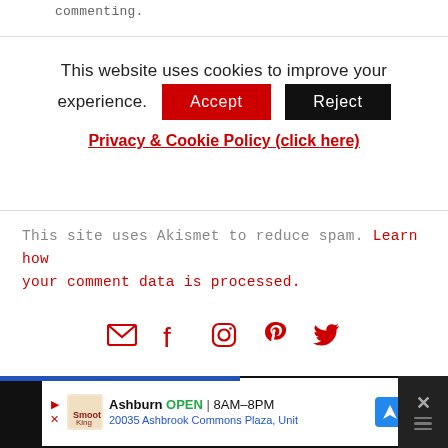commenting.
This website uses cookies to improve your experience.
Accept
Reject
Privacy & Cookie Policy (click here)
This site uses Akismet to reduce spam. Learn how your comment data is processed.
[Figure (infographic): Social media icons: email, Facebook, Instagram, Pinterest, Twitter in red]
[Figure (infographic): Advertisement bar: Smoothie King Ashburn OPEN 8AM-8PM, 20035 Ashbrook Commons Plaza, Unit]